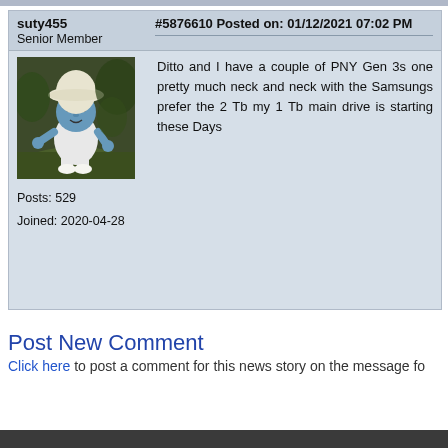suty455
Senior Member
Posts: 529
Joined: 2020-04-28
[Figure (photo): Avatar image of a Smurf figurine wearing a white mushroom hat, standing outdoors]
#5876610 Posted on: 01/12/2021 07:02 PM
Ditto and I have a couple of PNY Gen 3s one pretty much neck and neck with the Samsungs prefer the 2 Tb my 1 Tb main drive is starting these Days
Post New Comment
Click here to post a comment for this news story on the message fo